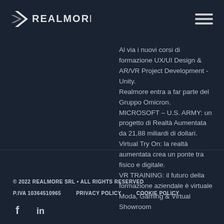REALMORE
Al via i nuovi corsi di formazione UX/UI Design & AR/VR Project Development - Unity.
Realmore entra a far parte del Gruppo Omicron.
MICROSOFT – U.S. ARMY: un progetto di Realtà Aumentata da 21,88 miliardi di dollari.
Virtual Try On: la realtà aumentata crea un ponte tra fisico e digitale.
VR TRAINING: il futuro della formazione aziendale è virtuale
Moda, Gaming & Virtual Showroom
© 2022 REALMORE SRL • ALL RIGHTS RESERVED
P.IVA 10364510965   PRIVACY POLICY   COOKIE POLICY